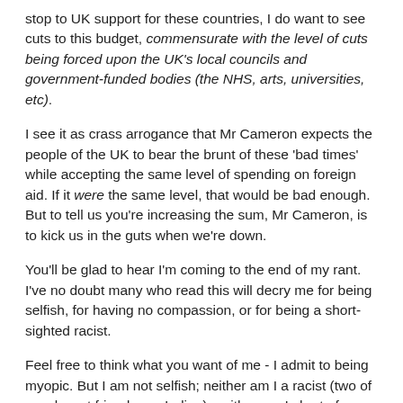stop to UK support for these countries, I do want to see cuts to this budget, commensurate with the level of cuts being forced upon the UK's local councils and government-funded bodies (the NHS, arts, universities, etc).
I see it as crass arrogance that Mr Cameron expects the people of the UK to bear the brunt of these 'bad times' while accepting the same level of spending on foreign aid. If it were the same level, that would be bad enough. But to tell us you're increasing the sum, Mr Cameron, is to kick us in the guts when we're down.
You'll be glad to hear I'm coming to the end of my rant. I've no doubt many who read this will decry me for being selfish, for having no compassion, or for being a short-sighted racist.
Feel free to think what you want of me - I admit to being myopic. But I am not selfish; neither am I a racist (two of my closest friends are Indian); neither am I short of compassion for my fellows when they are in need.
It is precisely because of my compassion, in fact, that I urge